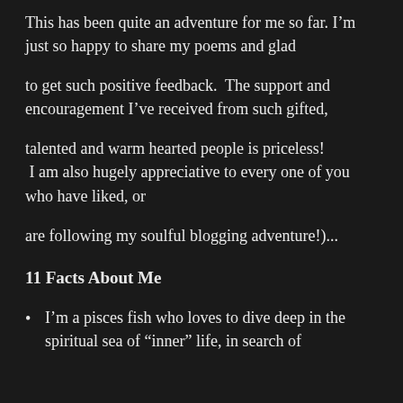This has been quite an adventure for me so far. I'm just so happy to share my poems and glad

to get such positive feedback.  The support and encouragement I've received from such gifted,

talented and warm hearted people is priceless!  I am also hugely appreciative to every one of you who have liked, or

are following my soulful blogging adventure!)...
11 Facts About Me
I'm a pisces fish who loves to dive deep in the spiritual sea of “inner” life, in search of